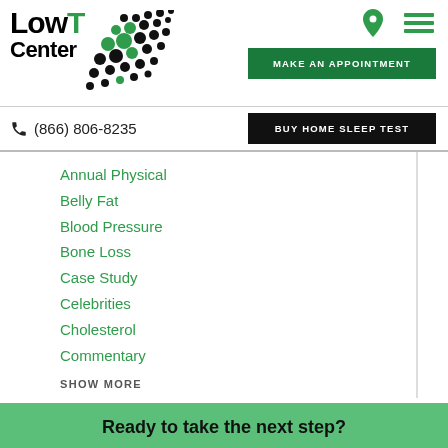[Figure (logo): Low T Center logo with green dots pattern]
MAKE AN APPOINTMENT
BUY HOME SLEEP TEST
(866) 806-8235
Annual Physical
Belly Fat
Blood Pressure
Bone Loss
Case Study
Celebrities
Cholesterol
Commentary
SHOW MORE
Ready to take the next step?